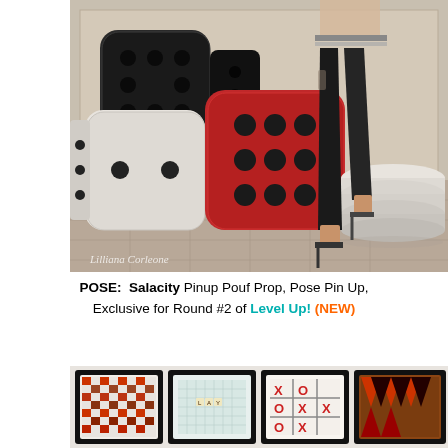[Figure (illustration): Digital artwork showing a woman in black leather pants and heels posing with large decorative dice (black, white, and red) and a white stacked pouf ottoman. Watermark text reads 'Lilliana Corleone' in cursive at the bottom left.]
POSE: Salacity Pinup Pouf Prop, Pose Pin Up, Exclusive for Round #2 of Level Up! (NEW)
[Figure (illustration): Four framed game boards: checkers board (red/black), Scrabble board, tic-tac-toe board (X O pattern), and a backgammon board.]